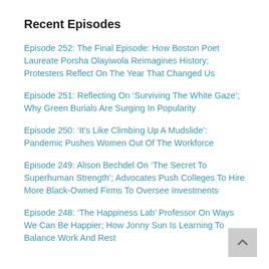Recent Episodes
Episode 252: The Final Episode: How Boston Poet Laureate Porsha Olayiwola Reimagines History; Protesters Reflect On The Year That Changed Us
Episode 251: Reflecting On ‘Surviving The White Gaze’; Why Green Burials Are Surging In Popularity
Episode 250: ‘It’s Like Climbing Up A Mudslide’: Pandemic Pushes Women Out Of The Workforce
Episode 249: Alison Bechdel On ‘The Secret To Superhuman Strength’; Advocates Push Colleges To Hire More Black-Owned Firms To Oversee Investments
Episode 248: ‘The Happiness Lab’ Professor On Ways We Can Be Happier; How Jonny Sun Is Learning To Balance Work And Rest